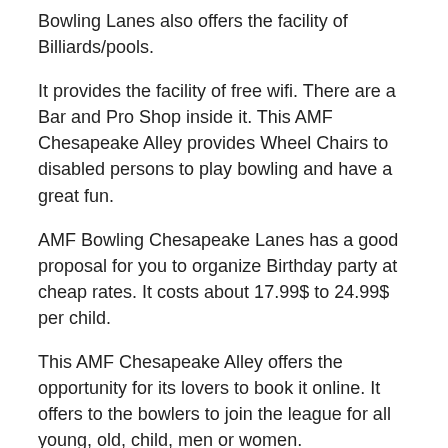Bowling Lanes also offers the facility of Billiards/pools.
It provides the facility of free wifi. There are a Bar and Pro Shop inside it. This AMF Chesapeake Alley provides Wheel Chairs to disabled persons to play bowling and have a great fun.
AMF Bowling Chesapeake Lanes has a good proposal for you to organize Birthday party at cheap rates. It costs about 17.99$ to 24.99$ per child.
This AMF Chesapeake Alley offers the opportunity for its lovers to book it online. It offers to the bowlers to join the league for all young, old, child, men or women.
AMF Bowling lanes have variable prices for the bowlers. Day to day prices vary according to different offers.